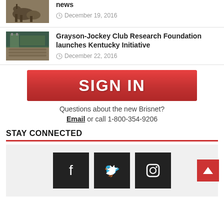news
December 19, 2016
Grayson-Jockey Club Research Foundation launches Kentucky Initiative
December 22, 2016
[Figure (other): Red SIGN IN button banner for Brisnet website]
Questions about the new Brisnet?
Email or call 1-800-354-9206
STAY CONNECTED
[Figure (other): Social media icons: Facebook, Twitter, Instagram with dark square backgrounds, and a red back-to-top arrow button]